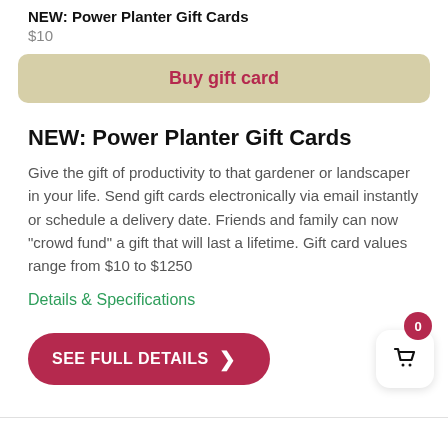NEW: Power Planter Gift Cards
$10
Buy gift card
NEW: Power Planter Gift Cards
Give the gift of productivity to that gardener or landscaper in your life. Send gift cards electronically via email instantly or schedule a delivery date. Friends and family can now "crowd fund" a gift that will last a lifetime. Gift card values range from $10 to $1250
Details & Specifications
SEE FULL DETAILS